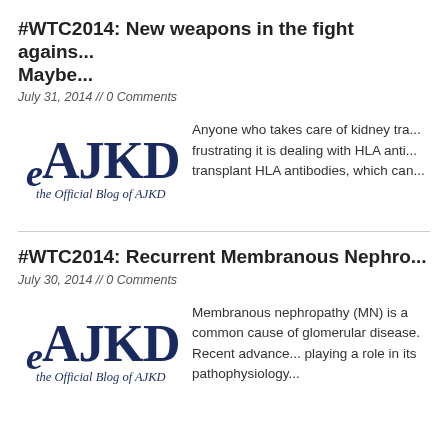#WTC2014: New weapons in the fight against... Maybe...
July 31, 2014 // 0 Comments
[Figure (logo): eAJKD - the Official Blog of AJKD logo]
Anyone who takes care of kidney transplant patients knows how frustrating it is dealing with HLA antibodies. Pre-transplant HLA antibodies, which can...
#WTC2014: Recurrent Membranous Nephro...
July 30, 2014 // 0 Comments
[Figure (logo): eAJKD - the Official Blog of AJKD logo]
Membranous nephropathy (MN) is a common cause of glomerular disease. Recent advances have identified PLA2R playing a role in its pathophysiology...